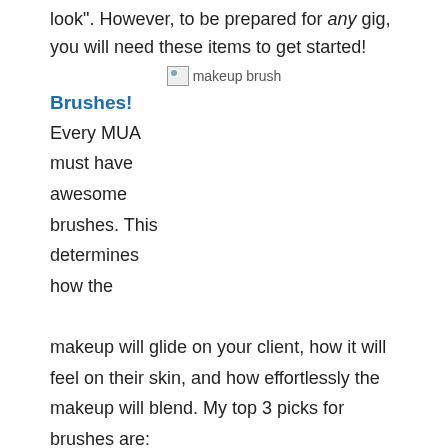look". However, to be prepared for any gig, you will need these items to get started!
[Figure (photo): Broken image placeholder labeled 'makeup brush']
Brushes!
Every MUA must have awesome brushes. This determines how the makeup will glide on your client, how it will feel on their skin, and how effortlessly the makeup will blend. My top 3 picks for brushes are:
[Figure (photo): Two makeup product images at bottom of page: a pink '4D Silk Fiber Eyelash Mascara' box and a rose gold mascara wand/brush product]